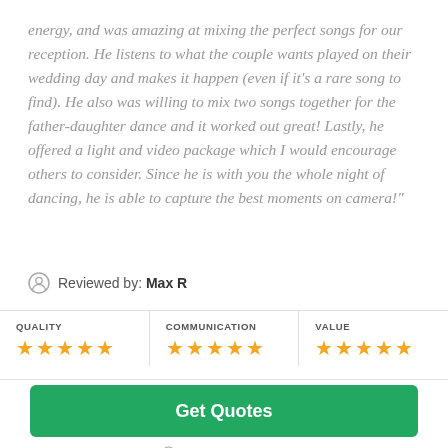energy, and was amazing at mixing the perfect songs for our reception. He listens to what the couple wants played on their wedding day and makes it happen (even if it's a rare song to find). He also was willing to mix two songs together for the father-daughter dance and it worked out great! Lastly, he offered a light and video package which I would encourage others to consider. Since he is with you the whole night of dancing, he is able to capture the best moments on camera!"
Reviewed by: Max R
| QUALITY | COMMUNICATION | VALUE |
| --- | --- | --- |
| ★★★★★ | ★★★★★ | ★★★★★ |
Get Quotes
Takes 2-3 minutes